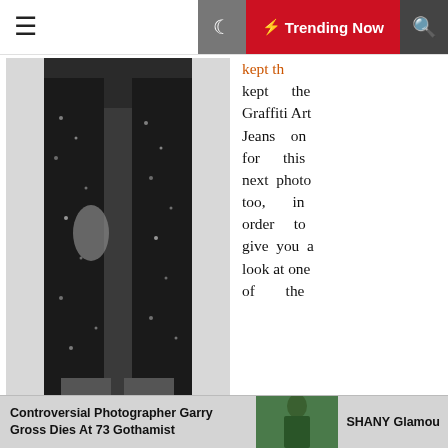☰  ☽  ⚡ Trending Now  🔍
[Figure (photo): Black and white photo of a person wearing a sequined/sparkly jacket and dark jeans, shown from neck to thighs]
kept the Graffiti Art Jeans on for this next photo too, in order to give you a look at one of the generous group gifts your Tastic tag earns you. The top is their Evolution of Woman Hoodie, and the hot pink image on the front looks like we have evolved right into the ability to shop for shoes ☺ It includes sizes for Freya, Isis, Venus, Maitreya, Hourglass, and Physique mesh bodies. Although the high-end fashion industry is limited by a small number of brands, top fashion
Controversial Photographer Garry Gross Dies At 73 Gothamist | SHANY Glamou